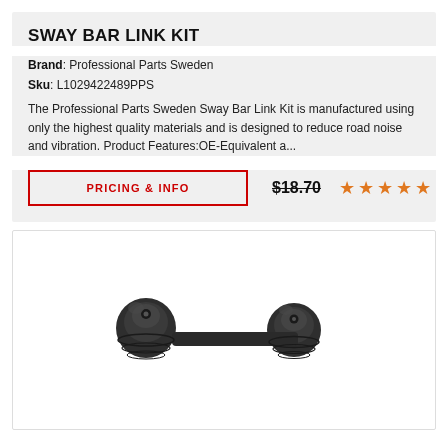SWAY BAR LINK KIT
Brand: Professional Parts Sweden
Sku: L1029422489PPS
The Professional Parts Sweden Sway Bar Link Kit is manufactured using only the highest quality materials and is designed to reduce road noise and vibration. Product Features:OE-Equivalent a...
PRICING & INFO   $18.70   ★★★★★
[Figure (photo): Photo of a sway bar link kit — a dark grey/black rubber and metal automotive suspension component with two ball joints connected by a short bar.]